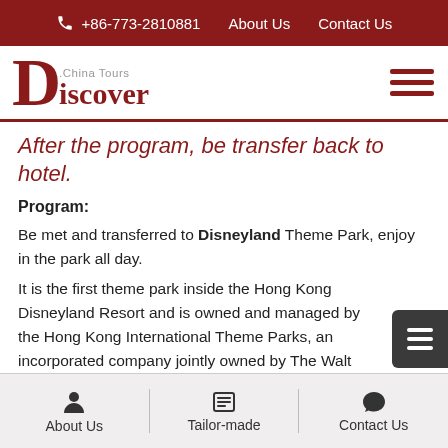+86-773-2810881  About Us  Contact Us
[Figure (logo): Discover China Tours logo with large red D and Discover text]
After the program, be transfer back to hotel.
Program:
Be met and transferred to Disneyland Theme Park, enjoy in the park all day.
It is the first theme park inside the Hong Kong Disneyland Resort and is owned and managed by the Hong Kong International Theme Parks, an incorporated company jointly owned by The Walt Disney Company and the Government of Hong Kong. Disneyland consists of four themed lands similar to other Disneyland parks: Main Street, U.S.A.,
About Us  Tailor-made  Contact Us